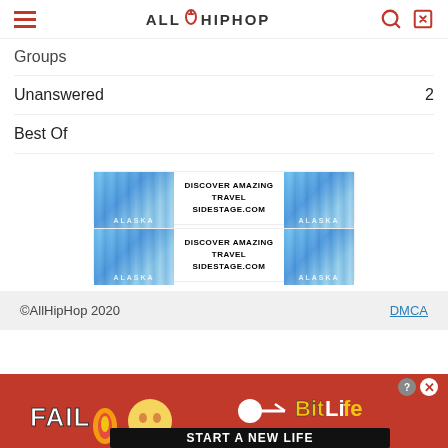AllHipHop
Groups
Unanswered  2
Best Of
[Figure (other): Two advertisement banners for sidestage.com travel, each showing Alaska glacier images with text DISCOVER AMAZING TRAVEL SIDESTAGE.COM]
©AllHipHop 2020   DMCA
[Figure (other): Bottom banner advertisement for BitLife game: FAIL emoji, fire, BitLife logo, START A NEW LIFE text on red background]